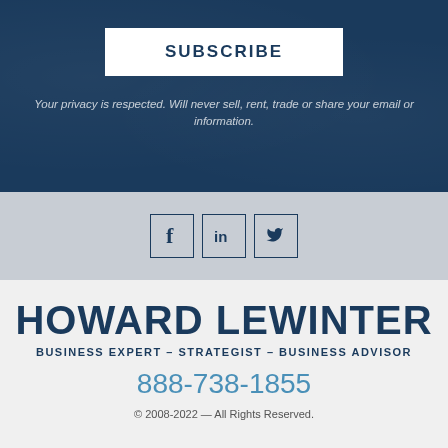SUBSCRIBE
Your privacy is respected. Will never sell, rent, trade or share your email or information.
[Figure (illustration): Social media icons: Facebook (f), LinkedIn (in), Twitter (bird icon), each in a square border]
HOWARD LEWINTER
BUSINESS EXPERT – STRATEGIST – BUSINESS ADVISOR
888-738-1855
© 2008-2022 — All Rights Reserved.